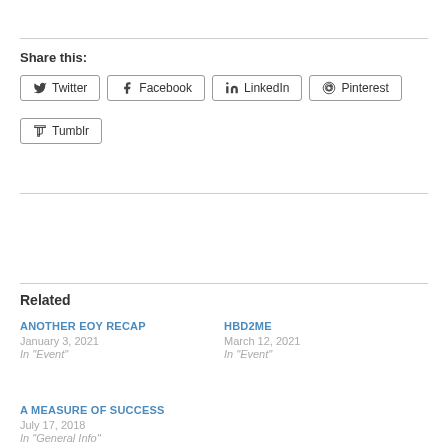Share this:
Twitter | Facebook | LinkedIn | Pinterest | Tumblr
Related
ANOTHER EOY RECAP
January 3, 2021
In "Event"
HBD2ME
March 12, 2021
In "Event"
A MEASURE OF SUCCESS
July 17, 2018
In "General Info"